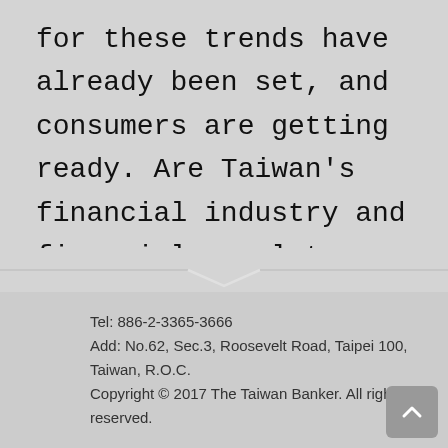for these trends have already been set, and consumers are getting ready. Are Taiwan's financial industry and financial regulators ready?
Tel: 886-2-3365-3666
Add: No.62, Sec.3, Roosevelt Road, Taipei 100, Taiwan, R.O.C.
Copyright © 2017 The Taiwan Banker. All rights reserved.